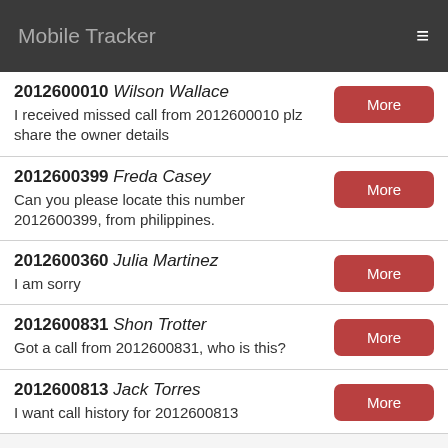Mobile Tracker
2012600010 Wilson Wallace
I received missed call from 2012600010 plz share the owner details
2012600399 Freda Casey
Can you please locate this number 2012600399, from philippines.
2012600360 Julia Martinez
I am sorry
2012600831 Shon Trotter
Got a call from 2012600831, who is this?
2012600813 Jack Torres
I want call history for 2012600813